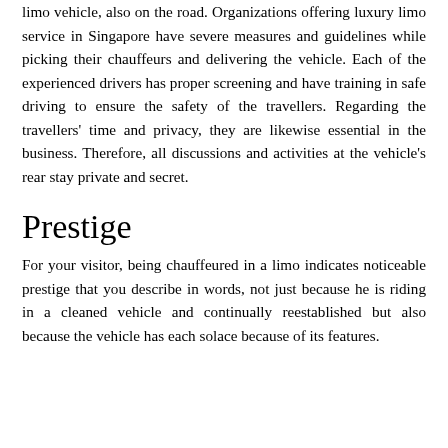limo vehicle, also on the road. Organizations offering luxury limo service in Singapore have severe measures and guidelines while picking their chauffeurs and delivering the vehicle. Each of the experienced drivers has proper screening and have training in safe driving to ensure the safety of the travellers. Regarding the travellers' time and privacy, they are likewise essential in the business. Therefore, all discussions and activities at the vehicle's rear stay private and secret.
Prestige
For your visitor, being chauffeured in a limo indicates noticeable prestige that you describe in words, not just because he is riding in a cleaned vehicle and continually reestablished but also because the vehicle has each solace because of its features.